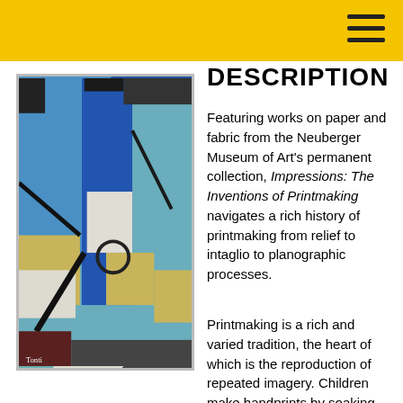DESCRIPTION
[Figure (illustration): Abstract geometric painting with blue, yellow, teal, and black forms on paper or canvas, characteristic of mid-20th century printmaking or painting.]
Featuring works on paper and fabric from the Neuberger Museum of Art's permanent collection, Impressions: The Inventions of Printmaking navigates a rich history of printmaking from relief to intaglio to planographic processes.
Printmaking is a rich and varied tradition, the heart of which is the reproduction of repeated imagery. Children make handprints by soaking their palms (and often their clothes) and then placing them on sheets of posterboard or newsprint, over and over again in different colors. Their sports teams receive t-shirts with the name of the local pizza parlor that sponsored them this year. When they go to the supermarket, inside they see